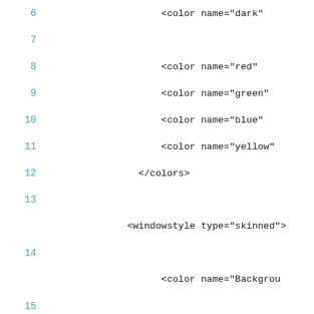6   <color name="dark"
7
8   <color name="red"
9   <color name="green"
10   <color name="blue"
11   <color name="yellow"
12   </colors>
13
13   <windowstyle type="skinned">
14
14   <color name="Backgrou
15
15   <color name="LabelFore
16
16   <color name="ListboxBa